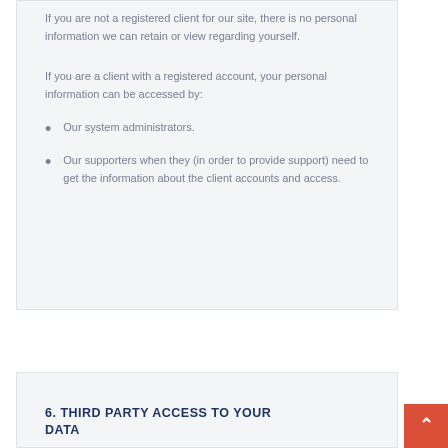If you are not a registered client for our site, there is no personal information we can retain or view regarding yourself.
If you are a client with a registered account, your personal information can be accessed by:
Our system administrators.
Our supporters when they (in order to provide support) need to get the information about the client accounts and access.
6. THIRD PARTY ACCESS TO YOUR DATA